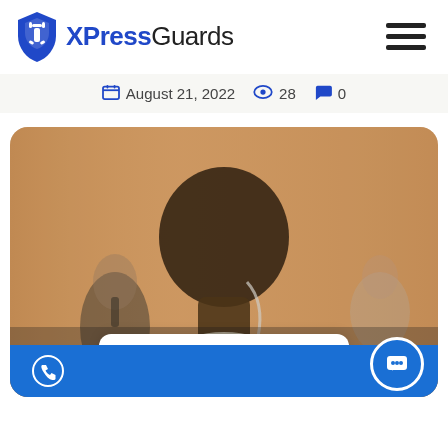XPressGuards
August 21, 2022  28  0
[Figure (photo): Back view of a security guard wearing an earpiece, with another person in a suit and blurred background in an indoor setting.]
We're offline
Leave a message